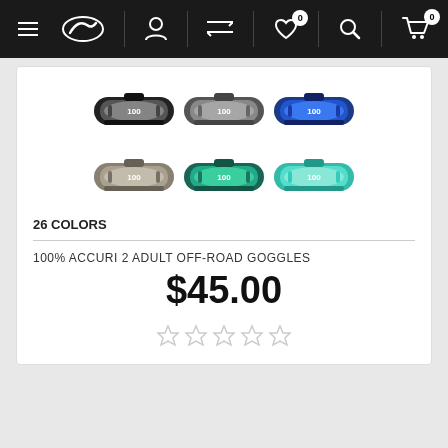Navigation bar with menu, logo, account, compare, wishlist (0), search, cart (0)
[Figure (photo): Six 100% brand off-road goggles in two rows: top row has black/silver mirror, grey/clear mirror, blue/blue mirror; bottom row has grey/clear, teal/green mirror, teal/clear]
26 COLORS
100% ACCURI 2 ADULT OFF-ROAD GOGGLES
$45.00
[Figure (other): 5-star rating display showing empty/unfilled stars]